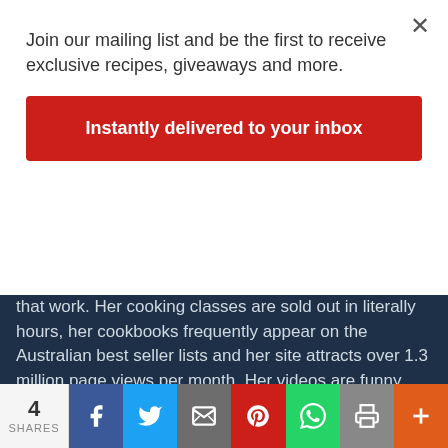Join our mailing list and be the first to receive exclusive recipes, giveaways and more.
Instantly delivered to your inbox
that work. Her cooking classes are sold out in literally hours, her cookbooks frequently appear on the Australian best seller lists and her site attracts over 1.3 million page views per month. Her videos are funny and entertaining as well as instructional. The Insider Club has grown way beyond the boundaries of Australia and her following is global with people as far away as Chile and Kazakhstan and Greece loving her books and sending her email! Tenina is not afraid of salt, butter or sugar and believes chocolate is a health food.
4 SHARES